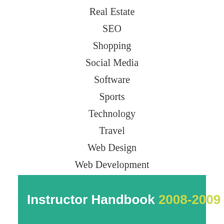Real Estate
SEO
Shopping
Social Media
Software
Sports
Technology
Travel
Web Design
Web Development
Instructor Handbook 2008-2009